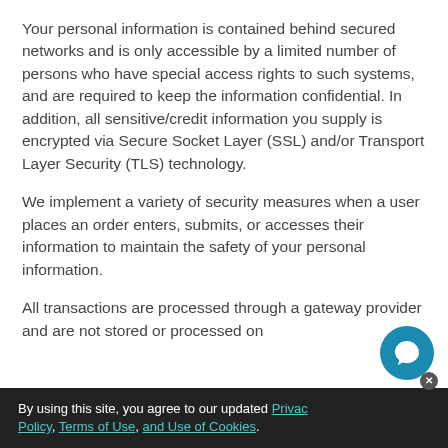Your personal information is contained behind secured networks and is only accessible by a limited number of persons who have special access rights to such systems, and are required to keep the information confidential. In addition, all sensitive/credit information you supply is encrypted via Secure Socket Layer (SSL) and/or Transport Layer Security (TLS) technology.
We implement a variety of security measures when a user places an order enters, submits, or accesses their information to maintain the safety of your personal information.
All transactions are processed through a gateway provider and are not stored or processed on
By using this site, you agree to our updated Privacy Policy, Terms of Use, and Use of Cookies.